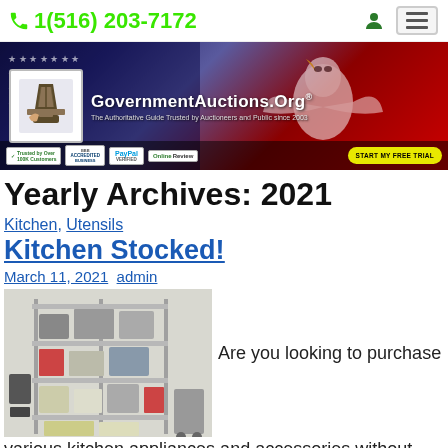1(516) 203-7172
[Figure (screenshot): GovernmentAuctions.Org banner with logo, tagline, trust badges (BBB Accredited, PayPal Verified, OnlineReview), and yellow 'START MY FREE TRIAL' button on an American flag/bald eagle background]
Yearly Archives: 2021
Kitchen, Utensils
Kitchen Stocked!
March 11, 2021  admin
[Figure (photo): Photo of a metal wire shelving rack stocked with various kitchen appliances and accessories including small appliances, containers, and boxes]
Are you looking to purchase
various kitchen appliances and accessories without